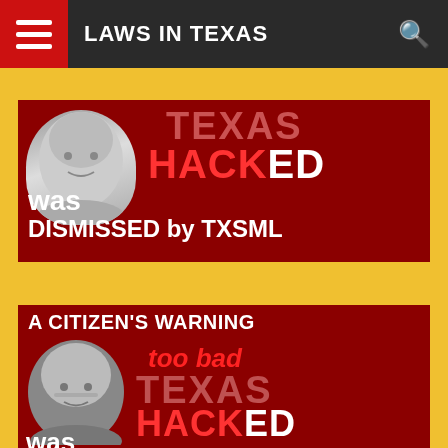LAWS IN TEXAS
[Figure (screenshot): Dark red banner image showing a woman's face in black and white on the left, with text 'TEXAS HACKED was DISMISSED by TXSML' in bold white and red text on a dark red background.]
[Figure (screenshot): Dark red banner image with text 'A CITIZEN'S WARNING' at top, a woman's face in black and white on the left, and text 'too bad TEXAS HACKED was' in bold white and red text on a dark red background.]